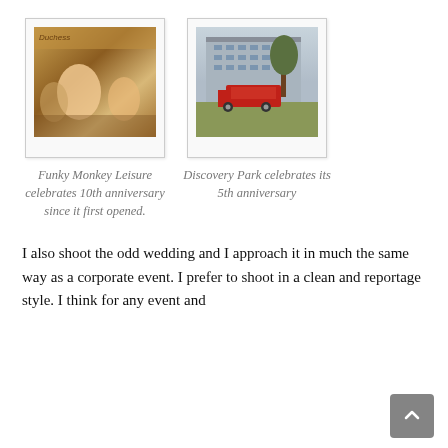[Figure (photo): Photo of people celebrating at Funky Monkey Leisure, with 'Duchess' sign visible in background]
Funky Monkey Leisure celebrates 10th anniversary since it first opened.
[Figure (photo): Photo of Discovery Park exterior with a red food truck/trailer parked on the grass in front of a multi-storey building]
Discovery Park celebrates its 5th anniversary
I also shoot the odd wedding and I approach it in much the same way as a corporate event. I prefer to shoot in a clean and reportage style. I think for any event and especially for a wedding that it is vital to capture the